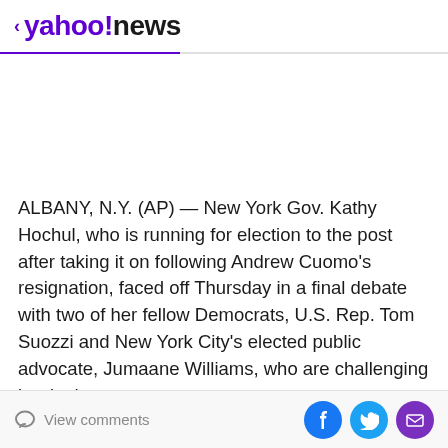< yahoo!news
ALBANY, N.Y. (AP) — New York Gov. Kathy Hochul, who is running for election to the post after taking it on following Andrew Cuomo's resignation, faced off Thursday in a final debate with two of her fellow Democrats, U.S. Rep. Tom Suozzi and New York City's elected public advocate, Jumaane Williams, who are challenging her in the race.
View comments